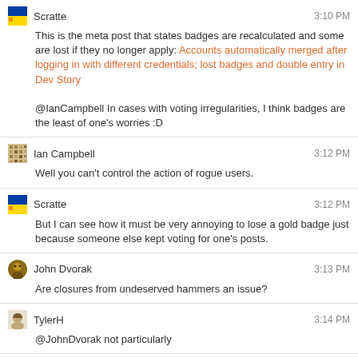Scratte 3:10 PM
This is the meta post that states badges are recalculated and some are lost if they no longer apply: Accounts automatically merged after logging in with different credentials; lost badges and double entry in Dev Story
@IanCampbell In cases with voting irregularities, I think badges are the least of one's worries :D
Ian Campbell 3:12 PM
Well you can't control the action of rogue users.
Scratte 3:12 PM
But I can see how it must be very annoying to lose a gold badge just because someone else kept voting for one's posts.
John Dvorak 3:13 PM
Are closures from undeserved hammers an issue?
TylerH 3:14 PM
@JohnDvorak not particularly
Ian Campbell 3:14 PM
There's a data.SE query that shows reversal percentage for gold tag holders
John Dvorak 3:14 PM
Then let them eat cake
Ian Campbell 3:15 PM
Other than a few users that have very low numbers of hammers, it seems like reversal